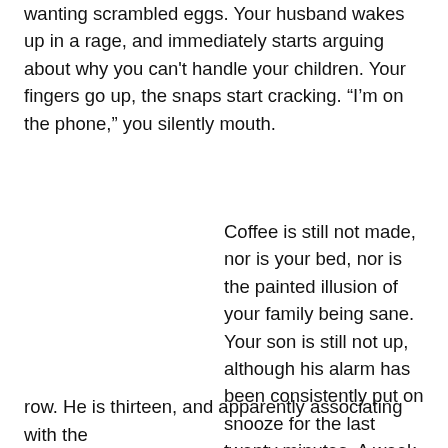wanting scrambled eggs. Your husband wakes up in a rage, and immediately starts arguing about why you can't handle your children. Your fingers go up, the snaps start cracking. “I’m on the phone,” you silently mouth.
Coffee is still not made, nor is your bed, nor is the painted illusion of your family being sane. Your son is still not up, although his alarm has been consistently put on snooze for the last twenty minutes. A week ago, you found out he had skipped school for the second week in a row. He is thirteen, and apparently associating with the